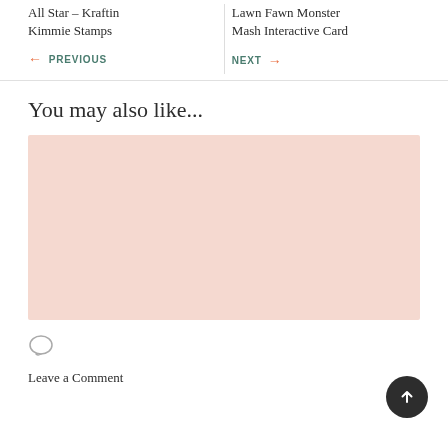All Star – Kraftin Kimmie Stamps
Lawn Fawn Monster Mash Interactive Card
← PREVIOUS
NEXT →
You may also like...
[Figure (photo): Pink/salmon colored placeholder image rectangle]
Leave a Comment